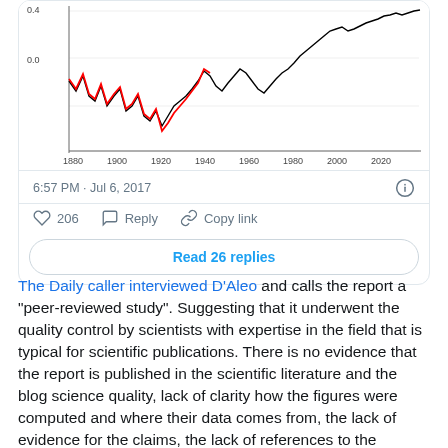[Figure (continuous-plot): Line chart showing temperature anomaly data from 1880 to 2020, with black and red lines showing fluctuating values around 0.0 baseline. X-axis labeled 'Year' with tick marks at 1880, 1900, 1920, 1940, 1960, 1980, 2000, 2020.]
6:57 PM · Jul 6, 2017
206  Reply  Copy link
Read 26 replies
The Daily caller interviewed D'Aleo and calls the report a "peer-reviewed study". Suggesting that it underwent the quality control by scientists with expertise in the field that is typical for scientific publications. There is no evidence that the report is published in the scientific literature and the blog science quality, lack of clarity how the figures were computed and where their data comes from, the lack of evidence for the claims, the lack of references to the scientific literature makes it highly unlikely that this work is peer reviewed, to say it in a friendly way. There is no quality bar they will not